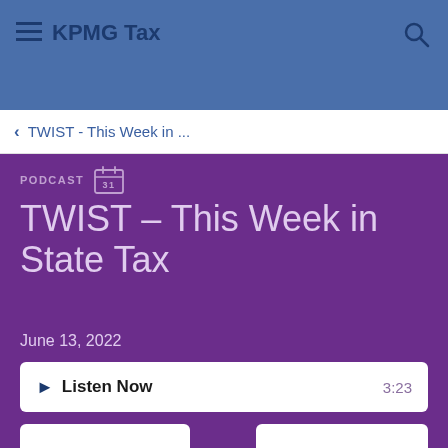KPMG Tax
TWIST - This Week in ...
PODCAST
TWIST - This Week in State Tax
June 13, 2022
Listen Now  3:23